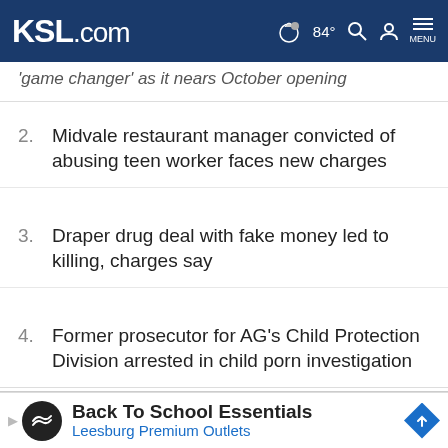KSL.com — 84° MENU
'game changer' as it nears October opening
2. Midvale restaurant manager convicted of abusing teen worker faces new charges
3. Draper drug deal with fake money led to killing, charges say
4. Former prosecutor for AG's Child Protection Division arrested in child porn investigation
Cookie Notice
We use cookies to improve your experience, analyze site traffic, and to personalize content and ads. By continuing to use our site, you consent to our use of cookies. Please visit our Terms of Use and Privacy Policy for more information
Back To School Essentials
Leesburg Premium Outlets